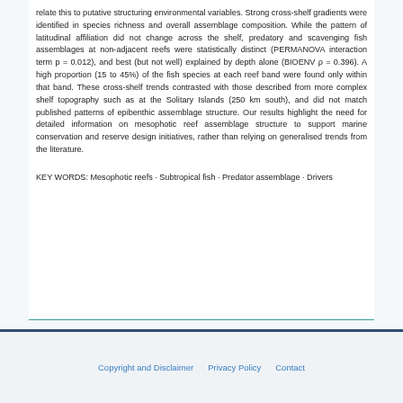relate this to putative structuring environmental variables. Strong cross-shelf gradients were identified in species richness and overall assemblage composition. While the pattern of latitudinal affiliation did not change across the shelf, predatory and scavenging fish assemblages at non-adjacent reefs were statistically distinct (PERMANOVA interaction term p = 0.012), and best (but not well) explained by depth alone (BIOENV ρ = 0.396). A high proportion (15 to 45%) of the fish species at each reef band were found only within that band. These cross-shelf trends contrasted with those described from more complex shelf topography such as at the Solitary Islands (250 km south), and did not match published patterns of epibenthic assemblage structure. Our results highlight the need for detailed information on mesophotic reef assemblage structure to support marine conservation and reserve design initiatives, rather than relying on generalised trends from the literature.
KEY WORDS: Mesophotic reefs · Subtropical fish · Predator assemblage · Drivers
Copyright and Disclaimer   Privacy Policy   Contact